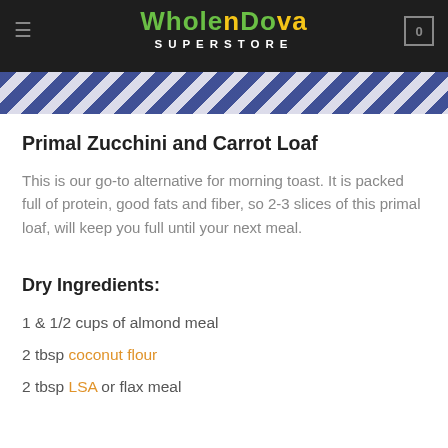Wholefood Superstore
[Figure (illustration): Decorative blue and white patterned banner below header]
Primal Zucchini and Carrot Loaf
This is our go-to alternative for morning toast. It is packed full of protein, good fats and fiber, so 2-3 slices of this primal loaf, will keep you full until your next meal.
Dry Ingredients:
1  & 1/2 cups of almond meal
2 tbsp coconut flour
2 tbsp LSA or flax meal